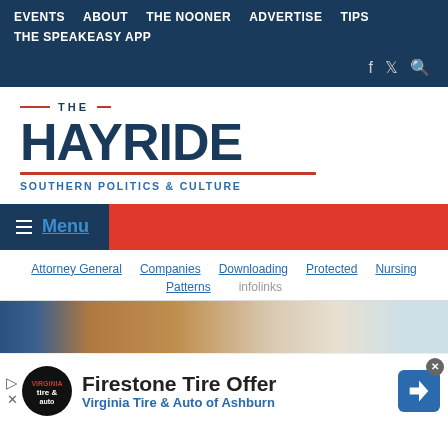EVENTS  ABOUT  THE NOONER  ADVERTISE  TIPS  THE SPEAKEASY APP
[Figure (logo): The Hayride - Southern Politics & Culture logo with red arc and underline]
≡ Menu
Attorney General  Companies  Downloading  Protected  Nursing  Patterns  infolinks
[Figure (photo): Partial image strip showing flags or decorative elements]
Firestone Tire Offer  Virginia Tire & Auto of Ashburn